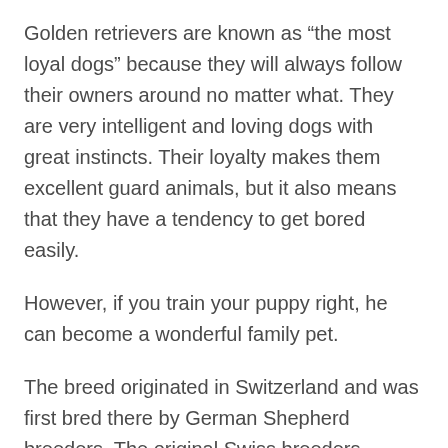Golden retrievers are known as “the most loyal dogs” because they will always follow their owners around no matter what. They are very intelligent and loving dogs with great instincts. Their loyalty makes them excellent guard animals, but it also means that they have a tendency to get bored easily.
However, if you train your puppy right, he can become a wonderful family pet.
The breed originated in Switzerland and was first bred there by German Shepherd breeders. The original Swiss breeders wanted a working dog that could work all day without getting tired so they started breeding dogs with strong hunting instinct. These dogs were